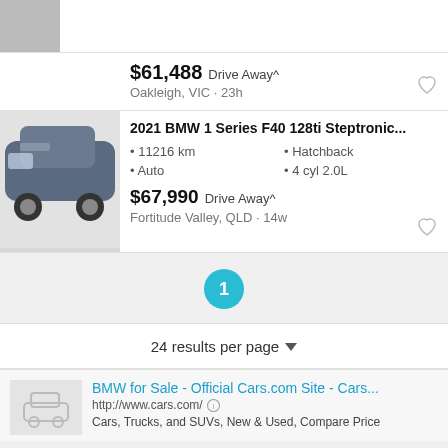[Figure (screenshot): Top partial car listing card showing two thumbnail images of a white BMW hatchback]
$61,488 Drive Away^ Oakleigh, VIC · 23h
[Figure (photo): Large photo of a dark blue 2021 BMW 1 Series F40 128ti hatchback]
2021 BMW 1 Series F40 128ti Steptronic...
• 11216 km
• Auto
• Hatchback
• 4 cyl 2.0L
$67,990 Drive Away^
Fortitude Valley, QLD · 14w
1
24 results per page
BMW for Sale - Official Cars.com Site - Cars...
http://www.cars.com/
Cars, Trucks, and SUVs, New & Used, Compare Price